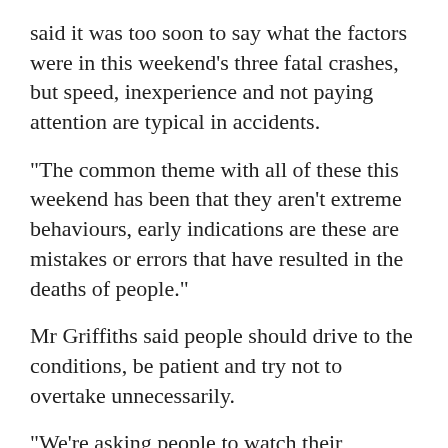said it was too soon to say what the factors were in this weekend's three fatal crashes, but speed, inexperience and not paying attention are typical in accidents.
"The common theme with all of these this weekend has been that they aren't extreme behaviours, early indications are these are mistakes or errors that have resulted in the deaths of people."
Mr Griffiths said people should drive to the conditions, be patient and try not to overtake unnecessarily.
"We're asking people to watch their following distances, double the normal two-second rule, give yourself a good four seconds from the vehicle in front," he said.
Last year, one person died on the roads on Labour